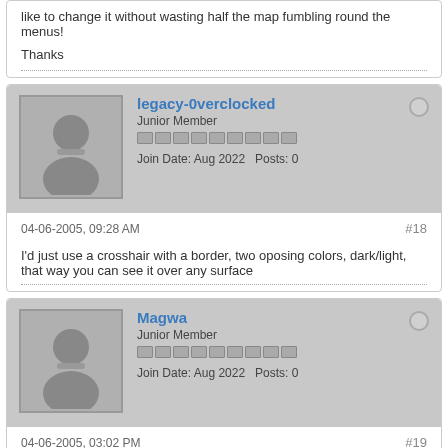like to change it without wasting half the map fumbling round the menus!

Thanks
legacy-0verclocked
Junior Member
Join Date: Aug 2022   Posts: 0
04-06-2005, 09:28 AM
#18
I'd just use a crosshair with a border, two oposing colors, dark/light, that way you can see it over any surface
Magwa
Junior Member
Join Date: Aug 2022   Posts: 0
04-06-2005, 03:02 PM
#19